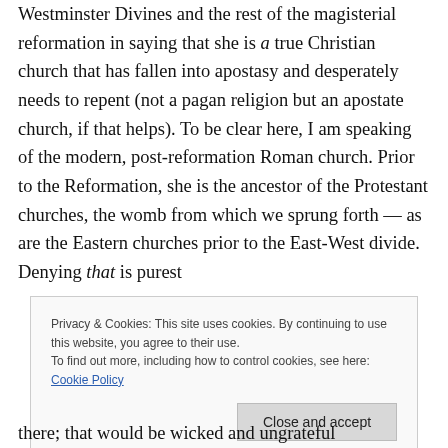Westminster Divines and the rest of the magisterial reformation in saying that she is a true Christian church that has fallen into apostasy and desperately needs to repent (not a pagan religion but an apostate church, if that helps). To be clear here, I am speaking of the modern, post-reformation Roman church. Prior to the Reformation, she is the ancestor of the Protestant churches, the womb from which we sprung forth — as are the Eastern churches prior to the East-West divide. Denying that is purest
Privacy & Cookies: This site uses cookies. By continuing to use this website, you agree to their use.
To find out more, including how to control cookies, see here: Cookie Policy
there; that would be wicked and ungrateful